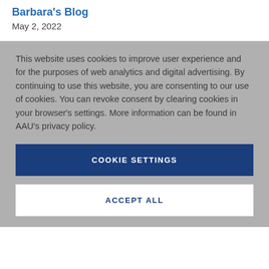Barbara's Blog
May 2, 2022
This website uses cookies to improve user experience and for the purposes of web analytics and digital advertising. By continuing to use this website, you are consenting to our use of cookies. You can revoke consent by clearing cookies in your browser's settings. More information can be found in AAU's privacy policy.
COOKIE SETTINGS
ACCEPT ALL